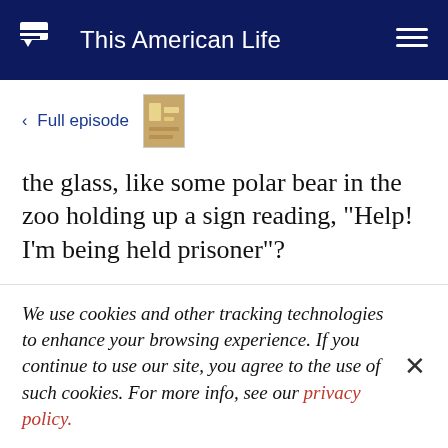This American Life
< Full episode
the glass, like some polar bear in the zoo holding up a sign reading, "Help! I'm being held prisoner"?
One day, I come up to the store for a photo op for a news story about the holiday windows of New
We use cookies and other tracking technologies to enhance your browsing experience. If you continue to use our site, you agree to the use of such cookies. For more info, see our privacy policy.